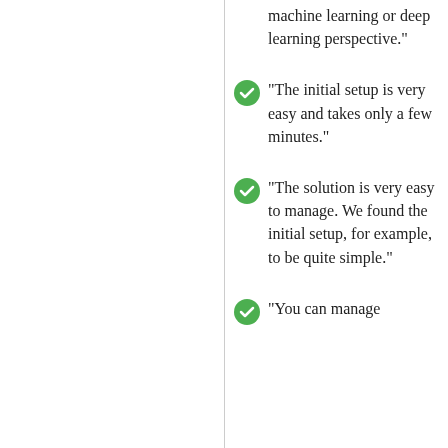machine learning or deep learning perspective."
"The initial setup is very easy and takes only a few minutes."
"The solution is very easy to manage. We found the initial setup, for example, to be quite simple."
"You can manage